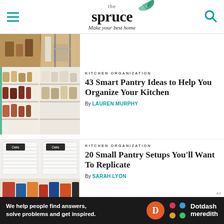the spruce — Make your best home
[Figure (photo): Partial thumbnail of a kitchen or home interior article at top]
KITCHEN ORGANIZATION
43 Smart Pantry Ideas to Help You Organize Your Kitchen
By LAUREN MURPHY
KITCHEN ORGANIZATION
20 Small Pantry Setups You'll Want To Replicate
By SARAH LYON
We help people find answers, solve problems and get inspired. Dotdash meredith